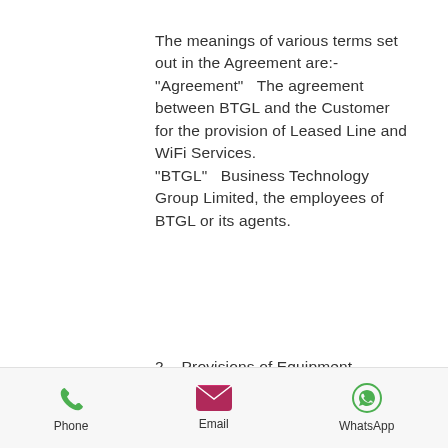The meanings of various terms set out in the Agreement are:- "Agreement"  The agreement between BTGL and the Customer for the provision of Leased Line and WiFi Services. "BTGL"  Business Technology Group Limited, the employees of BTGL or its agents.
2   Provisions of Equipment Support
Phone | Email | WhatsApp